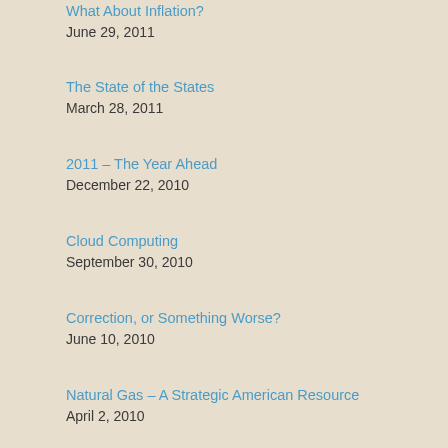What About Inflation?
June 29, 2011
The State of the States
March 28, 2011
2011 – The Year Ahead
December 22, 2010
Cloud Computing
September 30, 2010
Correction, or Something Worse?
June 10, 2010
Natural Gas – A Strategic American Resource
April 2, 2010
2010 — The Year Ahead
December 28, 2009
China, Inc.
September 30, 2009
Unintended Consequences